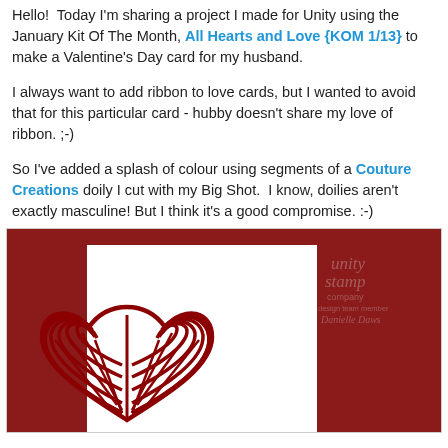Hello!  Today I'm sharing a project I made for Unity using the January Kit Of The Month, All Hearts and Love {KOM 1/13} to make a Valentine's Day card for my husband.
I always want to add ribbon to love cards, but I wanted to avoid that for this particular card - hubby doesn't share my love of ribbon. ;-)
So I've added a splash of colour using segments of a Couture Creations doily I cut with my Big Shot.  I know, doilies aren't exactly masculine! But I think it's a good compromise. :-)
[Figure (photo): A Valentine's Day card photo showing a white card with a red decorative doily heart die-cut on a dark red textured background. Unity Stamp Company watermark visible in upper right.]